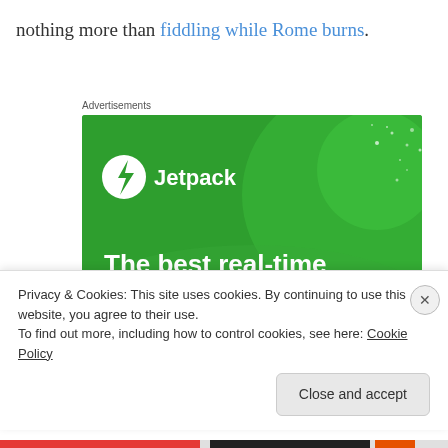nothing more than fiddling while Rome burns.
Advertisements
[Figure (illustration): Jetpack advertisement banner with green background showing lightning bolt logo, decorative circles, and text: 'The best real-time WordPress backup plugin']
Privacy & Cookies: This site uses cookies. By continuing to use this website, you agree to their use.
To find out more, including how to control cookies, see here: Cookie Policy
Close and accept